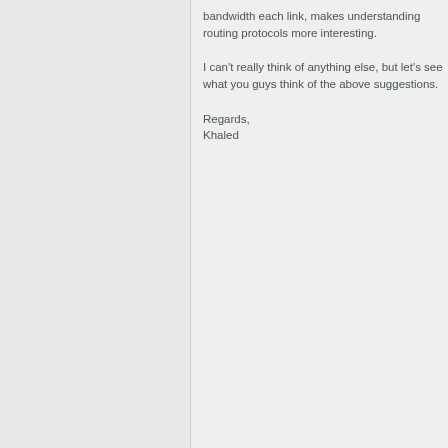bandwidth each link, makes understanding routing protocols more interesting.
I can't really think of anything else, but let's see what you guys think of the above suggestions.
Regards,
Khaled